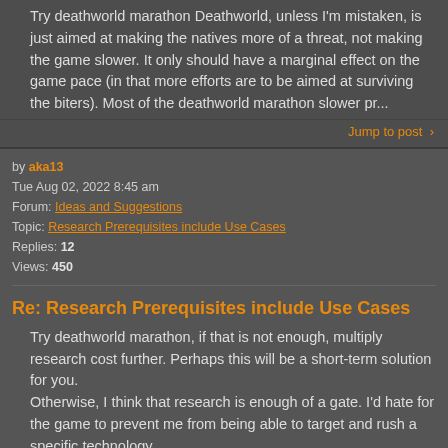Try deathworld marathon Deathworld, unless I'm mistaken, is just aimed at making the natives more of a threat, not making the game slower. It only should have a marginal effect on the game pace (in that more efforts are to be aimed at surviving the biters). Most of the deathworld marathon slower pr...
Jump to post >
by aka13
Tue Aug 02, 2022 8:45 am
Forum: Ideas and Suggestions
Topic: Research Prerequisites include Use Cases
Replies: 12
Views: 450
Re: Research Prerequisites include Use Cases
Try deathworld marathon, if that is not enough, multiply research cost further. Perhaps this will be a short-term solution for you.
Otherwise, I think that research is enough of a gate. I'd hate for the game to prevent me from being able to target and rush a specific technology.
Jump to post >
by aka13
Sat Jul 30, 2022 5:14 pm
Forum: Ideas and Suggestions